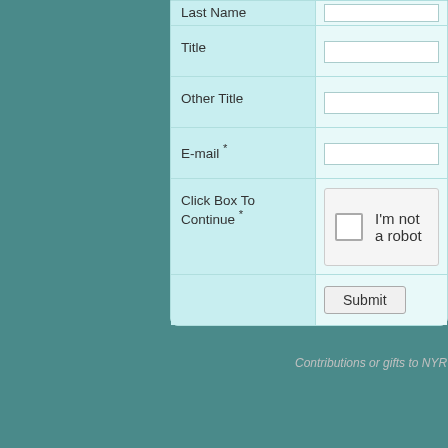| Field | Input |
| --- | --- |
| Last Name |  |
| Title |  |
| Other Title |  |
| E-mail * |  |
| Click Box To Continue * | I'm not a robot |
|  | Submit |
Contributions or gifts to NYR